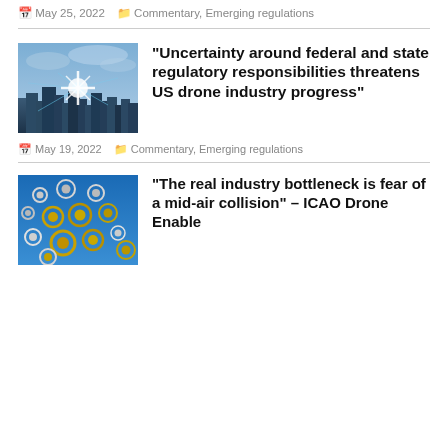May 25, 2022   Commentary, Emerging regulations
[Figure (photo): Digital city with glowing network connections and star-like burst of light, bluish tones]
“Uncertainty around federal and state regulatory responsibilities threatens US drone industry progress”
May 19, 2022   Commentary, Emerging regulations
[Figure (photo): Multiple drones with gold and silver rings against a blue sky background]
“The real industry bottleneck is fear of a mid-air collision” – ICAO Drone Enable